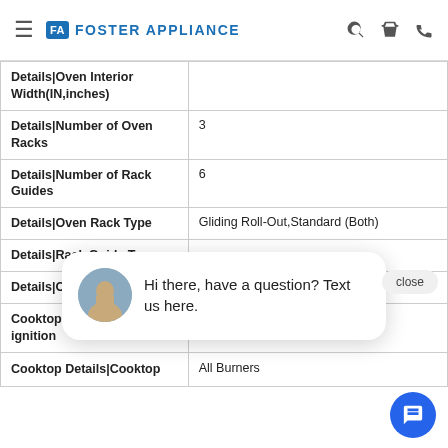Foster Appliance
| Details|Oven Interior Width(IN,inches) |  |
| Details|Number of Oven Racks | 3 |
| Details|Number of Rack Guides | 6 |
| Details|Oven Rack Type | Gliding Roll-Out,Standard (Both) |
| Details|Rack Guide Type |  |
| Details|Oven Cleaning Type |  |
| Cooktop Details|Auto Re-ignition | Yes |
| Cooktop Details|Cooktop | All Burners |
[Figure (screenshot): Chat popup with avatar saying 'Hi there, have a question? Text us here.' and a close button]